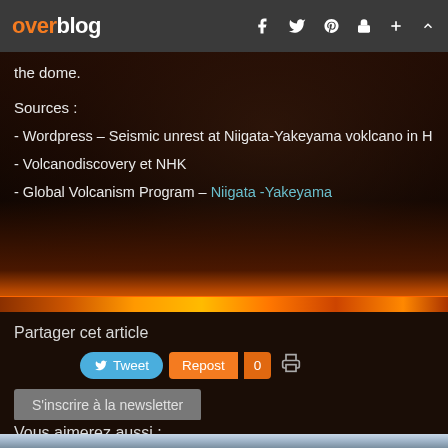overblog
the dome.
Sources :
- Wordpress – Seismic unrest at Niigata-Yakeyama voklcano in H
- Volcanodiscovery et NHK
- Global Volcanism Program – Niigata -Yakeyama
Partager cet article
Tweet  Repost  0
S'inscrire à la newsletter
Vous aimerez aussi :
[Figure (photo): Landscape photo at bottom of page, showing mountainous terrain with sky]